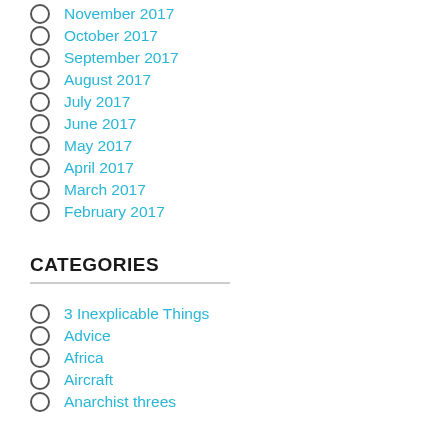November 2017
October 2017
September 2017
August 2017
July 2017
June 2017
May 2017
April 2017
March 2017
February 2017
CATEGORIES
3 Inexplicable Things
Advice
Africa
Aircraft
Anarchist threes